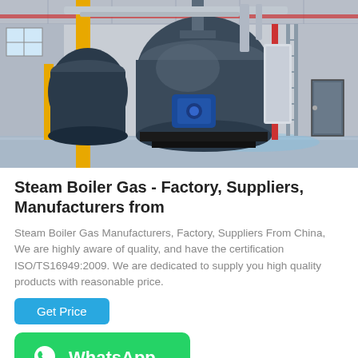[Figure (photo): Industrial boiler room with large cylindrical steam boilers, yellow pipes, blue motor, red accent pipes, white ductwork, and metal ladder against a tiled floor]
Steam Boiler Gas - Factory, Suppliers, Manufacturers from
Steam Boiler Gas Manufacturers, Factory, Suppliers From China, We are highly aware of quality, and have the certification ISO/TS16949:2009. We are dedicated to supply you high quality products with reasonable price.
[Figure (other): Get Price button (blue) and WhatsApp button (green with WhatsApp logo)]
[Figure (photo): Partial view of industrial piping and equipment with orange and white pipes and white helmet]